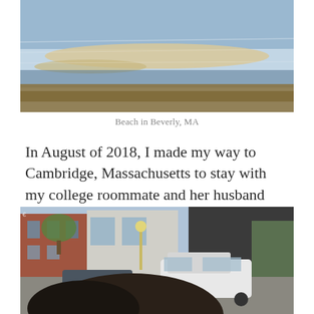[Figure (photo): Beach in Beverly, MA — shallow water with sandy bars and brownish seaweed along the shoreline]
Beach in Beverly, MA
In August of 2018, I made my way to Cambridge, Massachusetts to stay with my college roommate and her husband for a couple of months, which felt like the good old days all over again, only somehow even better this time.
[Figure (photo): Selfie of a person with dark hair in the foreground, with a street scene in Beverly/Cambridge MA behind them showing brick buildings, parked cars including a white SUV, and trees]